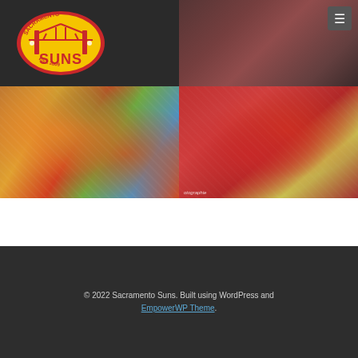[Figure (logo): Sacramento Suns AFC logo — circular badge with golden bridge, red and yellow shield, 'Sacramento' text at top, 'Suns' in yellow letters, 'EST. 2009' at bottom]
[Figure (photo): Menu/hamburger icon button in top right corner of header]
[Figure (photo): Close-up photo of Australian football players in colorful jerseys (red, yellow, green, blue) with hands visible]
[Figure (photo): Photo of Australian football players' legs and lower bodies in red jerseys, red socks, and yellow/gold cleats on green grass field, with 'otographie' watermark visible]
© 2022 Sacramento Suns. Built using WordPress and EmpowerWP Theme.